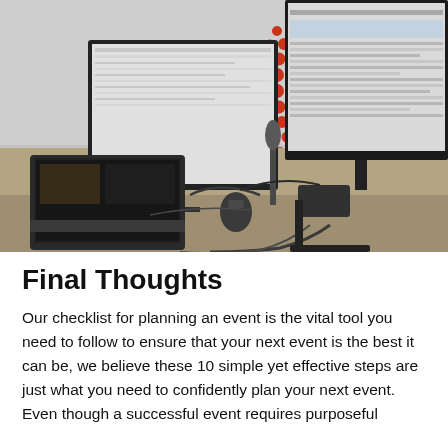[Figure (photo): Black and white photo of a broadcast/production desk setup with two large monitors displaying spreadsheet/software interfaces, a laptop open showing dark content, a microphone, mouse, and various cables. On the wall in the background is a logo made of red dots arranged in a square ring pattern.]
Final Thoughts
Our checklist for planning an event is the vital tool you need to follow to ensure that your next event is the best it can be, we believe these 10 simple yet effective steps are just what you need to confidently plan your next event. Even though a successful event requires purposeful